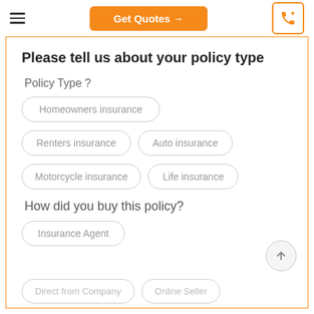Get Quotes →
Please tell us about your policy type
Policy Type ?
Homeowners insurance
Renters insurance
Auto insurance
Motorcycle insurance
Life insurance
How did you buy this policy?
Insurance Agent
Direct from Company
Online Seller